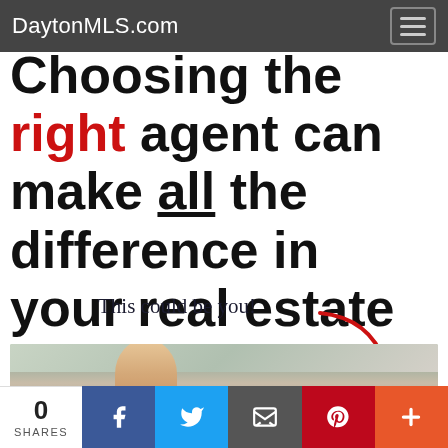DaytonMLS.com
Choosing the right agent can make all the difference in your real estate sale or purchase!
[Figure (illustration): Handwritten annotation 'This could be you!' with a red curved arrow pointing down to a photo of a smiling man in front of a house]
0 SHARES | Facebook | Twitter | Email | Pinterest | More